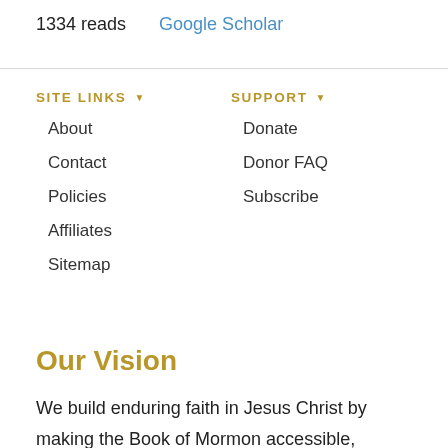1334 reads   Google Scholar
SITE LINKS
About
Contact
Policies
Affiliates
Sitemap
SUPPORT
Donate
Donor FAQ
Subscribe
Our Vision
We build enduring faith in Jesus Christ by making the Book of Mormon accessible, comprehensible, and defensible to the entire world.